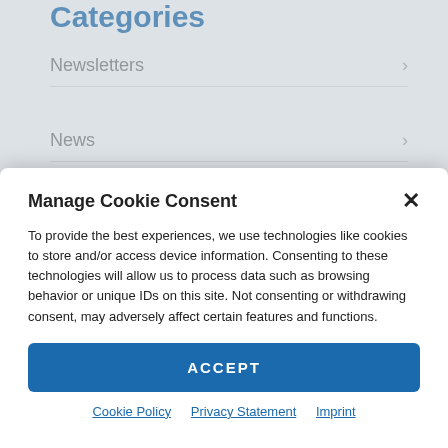Categories
Newsletters
News
Healthcare Exhibiting
Manage Cookie Consent
To provide the best experiences, we use technologies like cookies to store and/or access device information. Consenting to these technologies will allow us to process data such as browsing behavior or unique IDs on this site. Not consenting or withdrawing consent, may adversely affect certain features and functions.
ACCEPT
Cookie Policy  Privacy Statement  Imprint